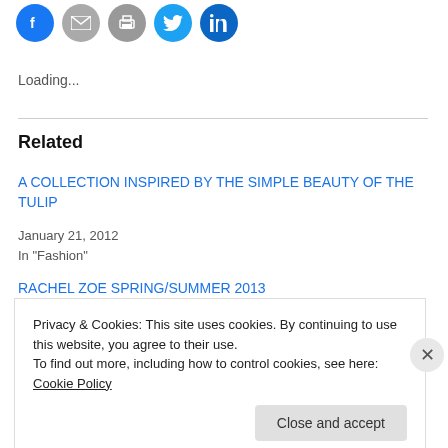[Figure (other): Row of social sharing icon buttons: Facebook (blue circle), Email (grey circle), Print (grey circle), Twitter (blue circle), LinkedIn (blue circle)]
Loading...
Related
A COLLECTION INSPIRED BY THE SIMPLE BEAUTY OF THE TULIP
January 21, 2012
In "Fashion"
RACHEL ZOE SPRING/SUMMER 2013
Privacy & Cookies: This site uses cookies. By continuing to use this website, you agree to their use.
To find out more, including how to control cookies, see here: Cookie Policy